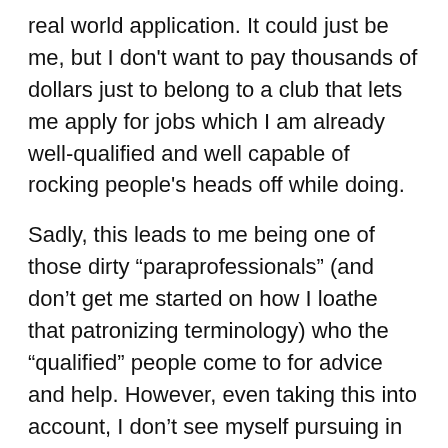real world application. It could just be me, but I don't want to pay thousands of dollars just to belong to a club that lets me apply for jobs which I am already well-qualified and well capable of rocking people's heads off while doing.
Sadly, this leads to me being one of those dirty "paraprofessionals" (and don't get me started on how I loathe that patronizing terminology) who the "qualified" people come to for advice and help. However, even taking this into account, I don't see myself pursuing in an MLS until there is a radical rethinking and restructuring of the programs. In other words, I refuse to invest in something that isn't worth the investment.